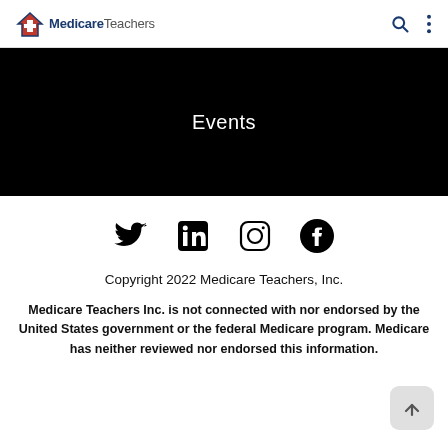Medicare Teachers
Events
[Figure (other): Social media icons row: Twitter, LinkedIn, Instagram, Facebook]
Copyright 2022 Medicare Teachers, Inc.
Medicare Teachers Inc. is not connected with nor endorsed by the United States government or the federal Medicare program. Medicare has neither reviewed nor endorsed this information.